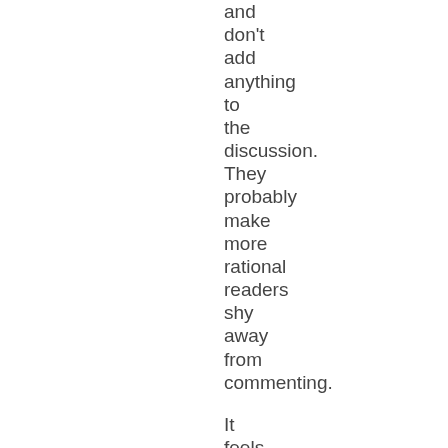and don't add anything to the discussion. They probably make more rational readers shy away from commenting.

It feels like this thread needs